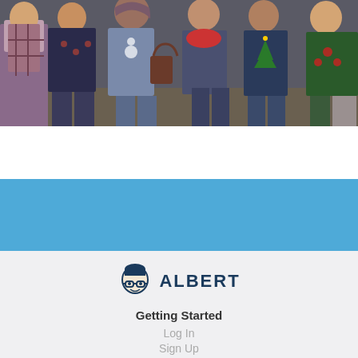[Figure (photo): Group photo of people wearing holiday/Christmas sweaters, cropped to show torsos and lower bodies, taken indoors]
[Figure (logo): Albert app logo — a cartoon face icon with glasses next to the bold text ALBERT in dark navy blue]
Getting Started
Log In
Sign Up